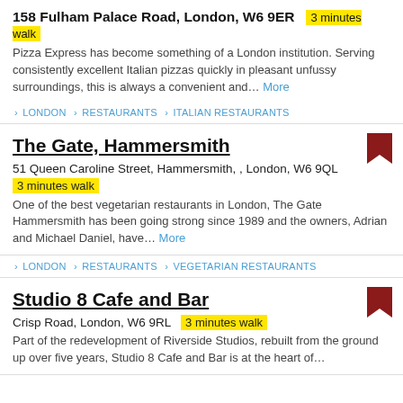158 Fulham Palace Road, London, W6 9ER  3 minutes walk
Pizza Express has become something of a London institution. Serving consistently excellent Italian pizzas quickly in pleasant unfussy surroundings, this is always a convenient and... More
> LONDON > RESTAURANTS > ITALIAN RESTAURANTS
The Gate, Hammersmith
51 Queen Caroline Street, Hammersmith, , London, W6 9QL
3 minutes walk
One of the best vegetarian restaurants in London, The Gate Hammersmith has been going strong since 1989 and the owners, Adrian and Michael Daniel, have... More
> LONDON > RESTAURANTS > VEGETARIAN RESTAURANTS
Studio 8 Cafe and Bar
Crisp Road, London, W6 9RL  3 minutes walk
Part of the redevelopment of Riverside Studios, rebuilt from the ground up over five years, Studio 8 Cafe and Bar is at the heart of...